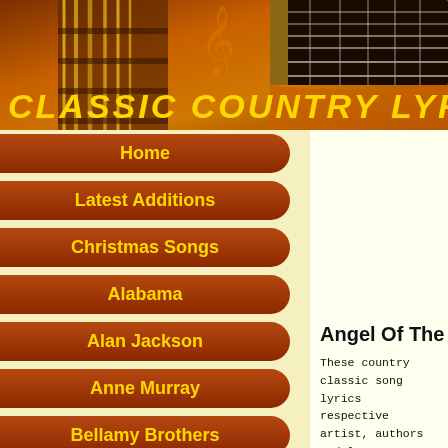[Figure (illustration): Classic Country Lyrics website header banner with orange/brown gradient background, guitar neck in upper right, guitar strings on left, music note swirls, and yellow italic bold title text 'CLASSIC COUNTRY LYRICS']
Home
Latest Additions
Christmas Songs
Alabama
Alan Jackson
Anne Murray
Bellamy Brothers
Bill Anderson
Billy Walker
Bob Wills
Bobby Bare
Boxcar Willie
Angel Of The Morning
These country classic song lyrics are the property of the respective artist, authors and labels. They are provided solely for educational purposes and personal use only. All chords provided are my interpretation and accuracy is not guaranteed.